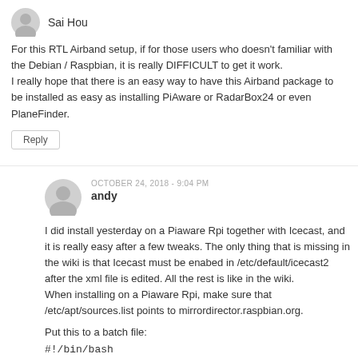[Figure (illustration): Gray placeholder avatar icon for user Sai Hou]
Sai Hou
For this RTL Airband setup, if for those users who doesn't familiar with the Debian / Raspbian, it is really DIFFICULT to get it work. I really hope that there is an easy way to have this Airband package to be installed as easy as installing PiAware or RadarBox24 or even PlaneFinder.
Reply
OCTOBER 24, 2018 - 9:04 PM
[Figure (illustration): Gray placeholder avatar icon for user andy]
andy
I did install yesterday on a Piaware Rpi together with Icecast, and it is really easy after a few tweaks. The only thing that is missing in the wiki is that Icecast must be enabed in /etc/default/icecast2 after the xml file is edited. All the rest is like in the wiki.
When installing on a Piaware Rpi, make sure that /etc/apt/sources.list points to mirrordirector.raspbian.org.
Put this to a batch file:
#!/bin/bash